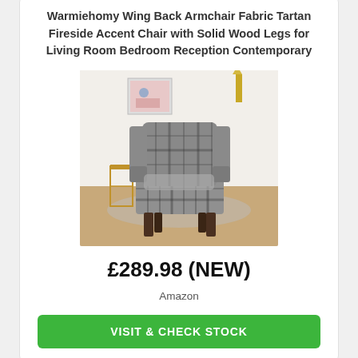Warmiehomy Wing Back Armchair Fabric Tartan Fireside Accent Chair with Solid Wood Legs for Living Room Bedroom Reception Contemporary
[Figure (photo): Product photo of a tartan plaid wing back armchair with dark wooden legs, shown in a living room setting with a gold side table and rug.]
£289.98 (NEW)
Amazon
VISIT & CHECK STOCK